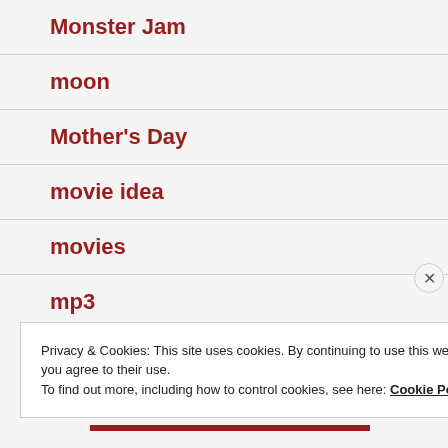Monster Jam
moon
Mother's Day
movie idea
movies
mp3
Privacy & Cookies: This site uses cookies. By continuing to use this website, you agree to their use.
To find out more, including how to control cookies, see here: Cookie Policy
Close and accept